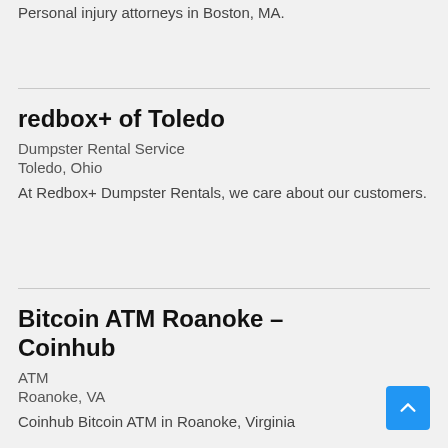Personal injury attorneys in Boston, MA.
redbox+ of Toledo
Dumpster Rental Service
Toledo, Ohio
At Redbox+ Dumpster Rentals, we care about our customers.
Bitcoin ATM Roanoke – Coinhub
ATM
Roanoke, VA
Coinhub Bitcoin ATM in Roanoke, Virginia